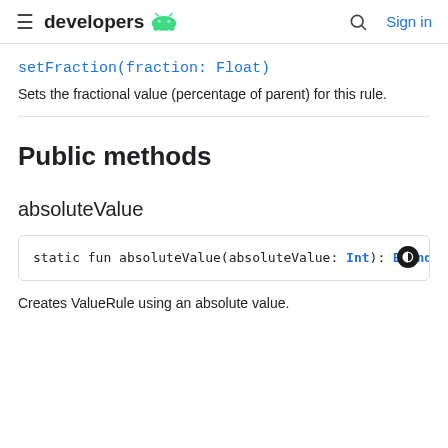developers [Android logo]  [search icon]  Sign in
setFraction(fraction: Float)
Sets the fractional value (percentage of parent) for this rule.
Public methods
absoluteValue
static fun absoluteValue(absoluteValue: Int): Bounds
Creates ValueRule using an absolute value.